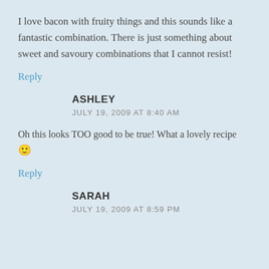I love bacon with fruity things and this sounds like a fantastic combination. There is just something about sweet and savoury combinations that I cannot resist!
Reply
ASHLEY
JULY 19, 2009 AT 8:40 AM
Oh this looks TOO good to be true! What a lovely recipe 🙂
Reply
SARAH
JULY 19, 2009 AT 8:59 PM